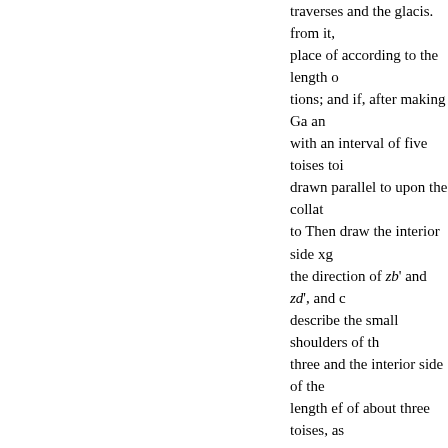traverses and the glacis. from it, place of according to the length o tions; and if, after making Ga an with an interval of five toises toi drawn parallel to upon the collat to Then draw the interior side xg the direction of zb' and zd', and describe the small shoulders of th three and the interior side of the length ef of about three toises, as
velin. The escarp and countersc made parallel to the faces, three breadth of the ditch; may be mad contiguous proper depth can be a direction to the superior slope of as will render the fire extremity counterscarp in posed to the fire
ing of the saliant place of arms i h, and, supposing g and to be joi it the equilateral trian. the travers line of the but those at the salian intermediate traverses, are only passages i between the them on